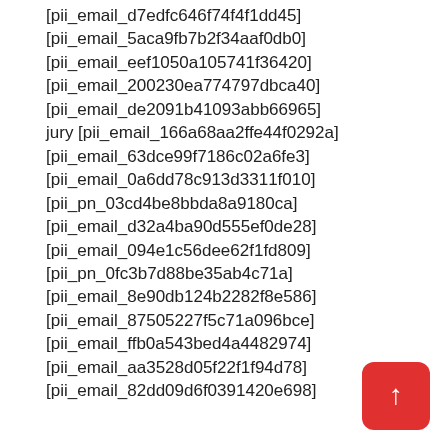[pii_email_d7edfc646f74f4f1dd45]
[pii_email_5aca9fb7b2f34aaf0db0]
[pii_email_eef1050a105741f36420]
[pii_email_200230ea774797dbca40]
[pii_email_de2091b41093abb66965]
jury [pii_email_166a68aa2ffe44f0292a]
[pii_email_63dce99f7186c02a6fe3]
[pii_email_0a6dd78c913d3311f010]
[pii_pn_03cd4be8bbda8a9180ca]
[pii_email_d32a4ba90d555ef0de28]
[pii_email_094e1c56dee62f1fd809]
[pii_pn_0fc3b7d88be35ab4c71a]
[pii_email_8e90db124b2282f8e586]
[pii_email_87505227f5c71a096bce]
[pii_email_ffb0a543bed4a4482974]
[pii_email_aa3528d05f22f1f94d78]
[pii_email_82dd09d6f0391420e698]